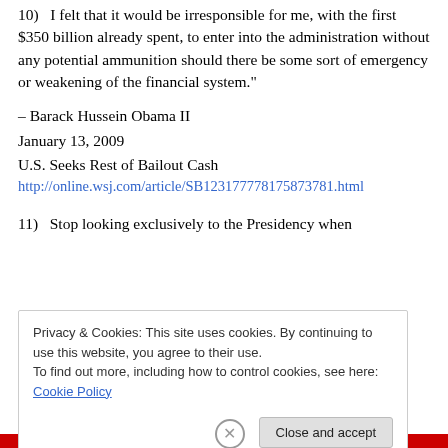10)  I felt that it would be irresponsible for me, with the first $350 billion already spent, to enter into the administration without any potential ammunition should there be some sort of emergency or weakening of the financial system."
– Barack Hussein Obama II
January 13, 2009
U.S. Seeks Rest of Bailout Cash
http://online.wsj.com/article/SB123177778175873781.html
11)  Stop looking exclusively to the Presidency when
Privacy & Cookies: This site uses cookies. By continuing to use this website, you agree to their use.
To find out more, including how to control cookies, see here: Cookie Policy